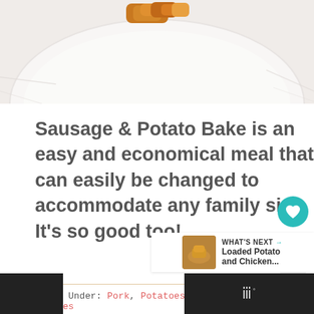[Figure (photo): Photo of sausage and potato bake on a white plate, cropped at top]
Sausage & Potato Bake is an easy and economical meal that can easily be changed to accommodate any family size. It's so good too!
Filed Under: Pork, Potatoes and Sweet Potatoes, Recipes